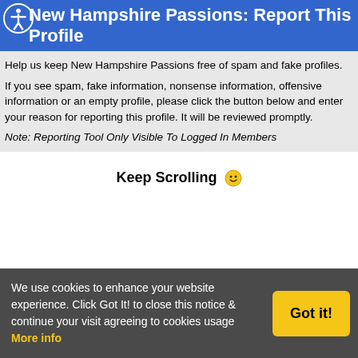New Hampshire Passions: Report This Profile
Help us keep New Hampshire Passions free of spam and fake profiles.

If you see spam, fake information, nonsense information, offensive information or an empty profile, please click the button below and enter your reason for reporting this profile. It will be reviewed promptly.
Note: Reporting Tool Only Visible To Logged In Members
Keep Scrolling 🙂
We use cookies to enhance your website experience. Click Got It! to close this notice & continue your visit agreeing to cookies usage More info